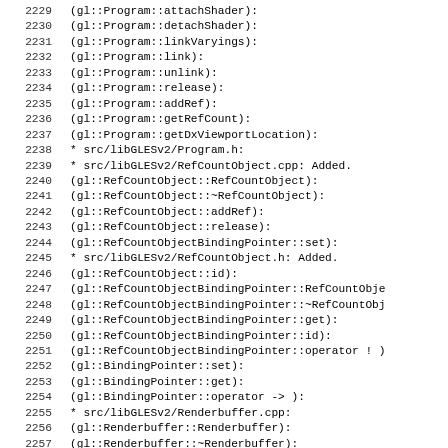2229  (gl::Program::attachShader):
2230  (gl::Program::detachShader):
2231  (gl::Program::linkVaryings):
2232  (gl::Program::link):
2233  (gl::Program::unlink):
2234  (gl::Program::release):
2235  (gl::Program::addRef):
2236  (gl::Program::getRefCount):
2237  (gl::Program::getDxViewportLocation):
2238  * src/libGLESv2/Program.h:
2239  * src/libGLESv2/RefCountObject.cpp: Added.
2240  (gl::RefCountObject::RefCountObject):
2241  (gl::RefCountObject::~RefCountObject):
2242  (gl::RefCountObject::addRef):
2243  (gl::RefCountObject::release):
2244  (gl::RefCountObjectBindingPointer::set):
2245  * src/libGLESv2/RefCountObject.h: Added.
2246  (gl::RefCountObject::id):
2247  (gl::RefCountObjectBindingPointer::RefCountObje
2248  (gl::RefCountObjectBindingPointer::~RefCountObj
2249  (gl::RefCountObjectBindingPointer::get):
2250  (gl::RefCountObjectBindingPointer::id):
2251  (gl::RefCountObjectBindingPointer::operator ! )
2252  (gl::BindingPointer::set):
2253  (gl::BindingPointer::get):
2254  (gl::BindingPointer::operator -> ):
2255  * src/libGLESv2/Renderbuffer.cpp:
2256  (gl::Renderbuffer::Renderbuffer):
2257  (gl::Renderbuffer::~Renderbuffer):
2258  (gl::Renderbuffer::isColorbuffer):
2259  (gl::Renderbuffer::isDepthbuffer):
2260  (gl::Renderbuffer::isStencilbuffer):
2261  (gl::Renderbuffer::getRenderbufferTar...